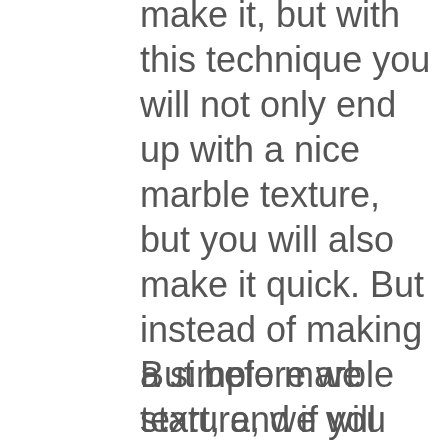make it, but with this technique you will not only end up with a nice marble texture, but you will also make it quick. But instead of making a simple marble texture, we will get it a step further and add some gold veins to it to make it really stand out from the rest.
But before we start, and if you want to follow this tutorial exactly as described, please download